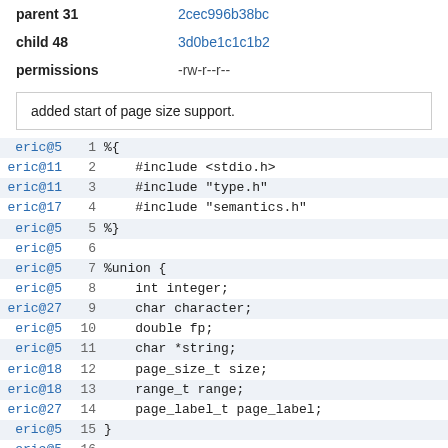| changeset 32 | 8da8181330aa |
| parent 31 | 2cec996b38bc |
| child 48 | 3d0be1c1c1b2 |
| permissions | -rw-r--r-- |
added start of page size support.
eric@5  1  %{
eric@11  2      #include <stdio.h>
eric@11  3      #include "type.h"
eric@17  4      #include "semantics.h"
eric@5   5  %}
eric@5   6  
eric@5   7  %union {
eric@5   8      int integer;
eric@27  9      char character;
eric@5  10      double fp;
eric@5  11      char *string;
eric@18 12      page_size_t size;
eric@18 13      range_t range;
eric@27 14      page_label_t page_label;
eric@5  15  }
eric@5  16